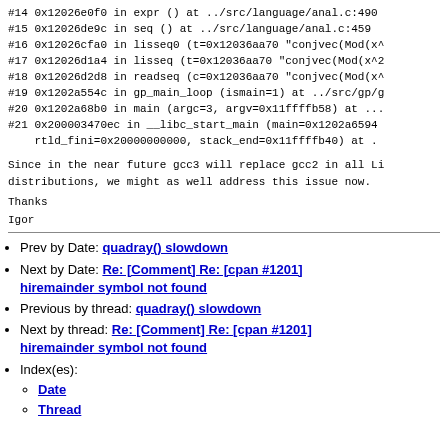#14 0x12026e0f0 in expr () at ../src/language/anal.c:490
#15 0x12026de9c in seq () at ../src/language/anal.c:459
#16 0x12026cfa0 in lisseq0 (t=0x12036aa70 "conjvec(Mod(x^
#17 0x12026d1a4 in lisseq (t=0x12036aa70 "conjvec(Mod(x^2
#18 0x12026d2d8 in readseq (c=0x12036aa70 "conjvec(Mod(x^
#19 0x1202a554c in gp_main_loop (ismain=1) at ../src/gp/g
#20 0x1202a68b0 in main (argc=3, argv=0x11ffffb58) at ...
#21 0x200003470ec in __libc_start_main (main=0x1202a6594
    rtld_fini=0x20000000000, stack_end=0x11ffffb40) at .
Since in the near future gcc3 will replace gcc2 in all Li
distributions, we might as well address this issue now.
Thanks
Igor
Prev by Date: quadray() slowdown
Next by Date: Re: [Comment] Re: [cpan #1201] hiremainder symbol not found
Previous by thread: quadray() slowdown
Next by thread: Re: [Comment] Re: [cpan #1201] hiremainder symbol not found
Index(es): Date, Thread